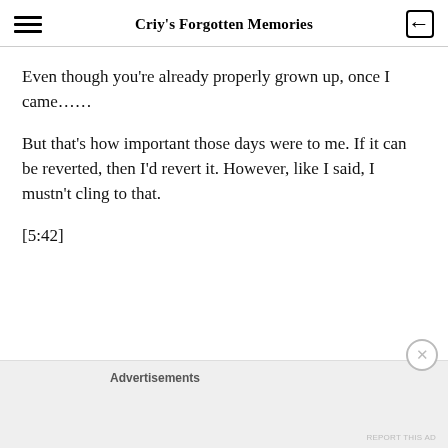Criy's Forgotten Memories
Even though you're already properly grown up, once I came……
But that's how important those days were to me. If it can be reverted, then I'd revert it. However, like I said, I mustn't cling to that.
[5:42]
Advertisements